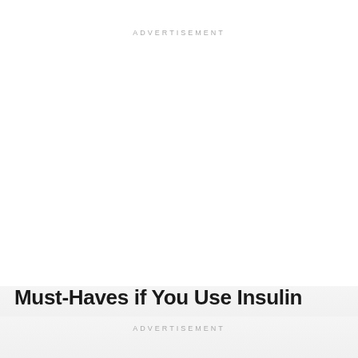ADVERTISEMENT
Must-Haves if You Use Insulin
ADVERTISEMENT